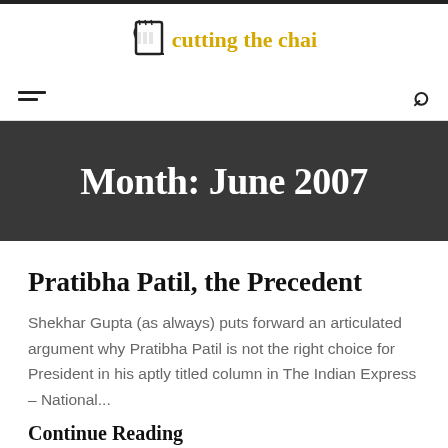[Figure (logo): Cutting the Chai logo with a tea glass icon and yellow text]
≡  🔍
Month: June 2007
Pratibha Patil, the Precedent
Shekhar Gupta (as always) puts forward an articulated argument why Pratibha Patil is not the right choice for President in his aptly titled column in The Indian Express – National...
Continue Reading